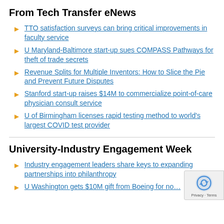From Tech Transfer eNews
TTO satisfaction surveys can bring critical improvements in faculty service
U Maryland-Baltimore start-up sues COMPASS Pathways for theft of trade secrets
Revenue Splits for Multiple Inventors: How to Slice the Pie and Prevent Future Disputes
Stanford start-up raises $14M to commercialize point-of-care physician consult service
U of Birmingham licenses rapid testing method to world's largest COVID test provider
University-Industry Engagement Week
Industry engagement leaders share keys to expanding partnerships into philanthropy
U Washington gets $10M gift from Boeing for n…